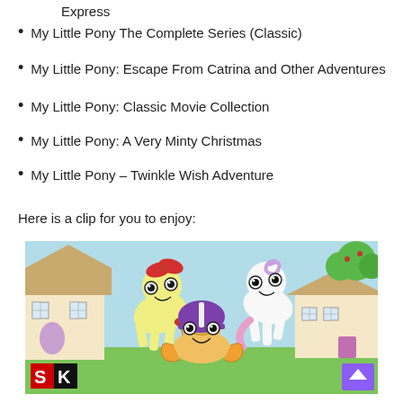Express
My Little Pony The Complete Series (Classic)
My Little Pony: Escape From Catrina and Other Adventures
My Little Pony: Classic Movie Collection
My Little Pony: A Very Minty Christmas
My Little Pony – Twinkle Wish Adventure
Here is a clip for you to enjoy:
[Figure (illustration): Animated still from My Little Pony featuring three cartoon pony characters (Apple Bloom, Sweetie Belle, and Scootaloo) in a colorful storybook-style village setting, with an SK logo overlay in the bottom left corner and a purple scroll-to-top arrow button in the bottom right.]